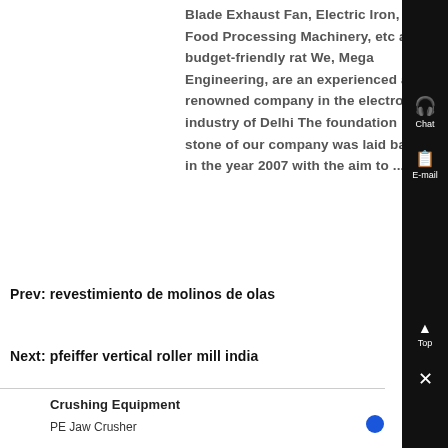Blade Exhaust Fan, Electric Iron, Food Processing Machinery, etc at budget-friendly rat We, Mega Engineering, are an experienced and renowned company in the electronics industry of Delhi The foundation stone of our company was laid back in the year 2007 with the aim to ....
Prev: revestimiento de molinos de olas
Next: pfeiffer vertical roller mill india
Crushing Equipment
PE Jaw Crusher